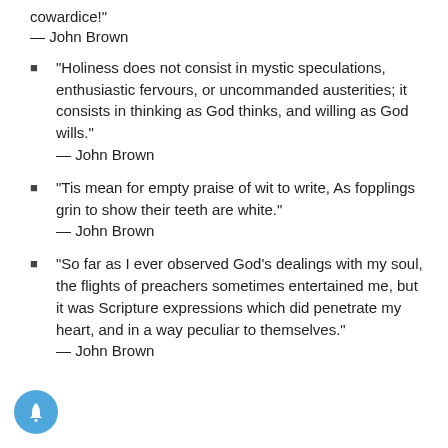cowardice!"
— John Brown
"Holiness does not consist in mystic speculations, enthusiastic fervours, or uncommanded austerities; it consists in thinking as God thinks, and willing as God wills."
— John Brown
"Tis mean for empty praise of wit to write, As fopplings grin to show their teeth are white."
— John Brown
"So far as I ever observed God's dealings with my soul, the flights of preachers sometimes entertained me, but it was Scripture expressions which did penetrate my heart, and in a way peculiar to themselves."
— John Brown